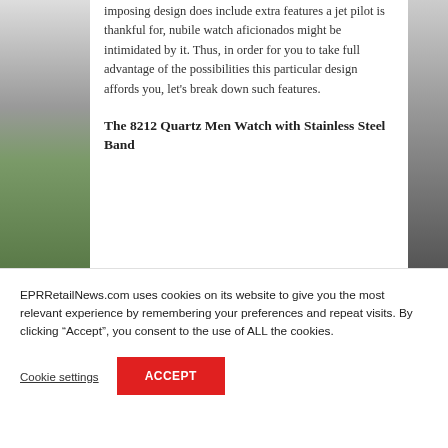[Figure (photo): Partial image of product/magazine on left edge and right edge of top section]
imposing design does include extra features a jet pilot is thankful for, nubile watch aficionados might be intimidated by it. Thus, in order for you to take full advantage of the possibilities this particular design affords you, let's break down such features.
The 8212 Quartz Men Watch with Stainless Steel Band
EPRRetailNews.com uses cookies on its website to give you the most relevant experience by remembering your preferences and repeat visits. By clicking “Accept”, you consent to the use of ALL the cookies.